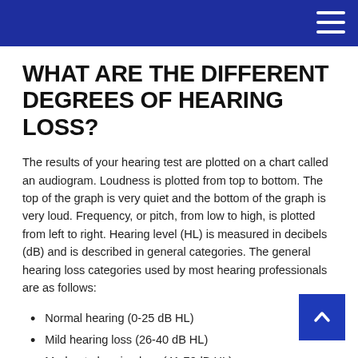WHAT ARE THE DIFFERENT DEGREES OF HEARING LOSS?
The results of your hearing test are plotted on a chart called an audiogram. Loudness is plotted from top to bottom. The top of the graph is very quiet and the bottom of the graph is very loud. Frequency, or pitch, from low to high, is plotted from left to right. Hearing level (HL) is measured in decibels (dB) and is described in general categories. The general hearing loss categories used by most hearing professionals are as follows:
Normal hearing (0-25 dB HL)
Mild hearing loss (26-40 dB HL)
Moderate hearing loss (41-70dB HL)
Severe hearing loss (71-90 dB HL)